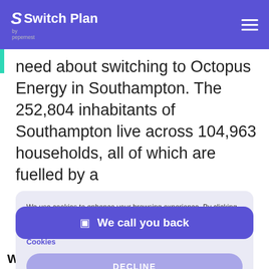Switch Plan by pepernest
need about switching to Octopus Energy in Southampton. The 252,804 inhabitants of Southampton live across 104,963 households, all of which are fuelled by a
We use cookies to enhance your browsing experience. By clicking ´Accept All´ you consent to our use of cookies. Learn more about our use of cookies. Cookies
DECLINE
ACCEPT
We call you back
What you need to know about switching